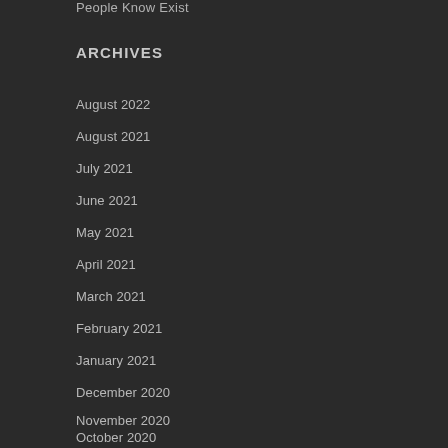People Know Exist
ARCHIVES
August 2022
August 2021
July 2021
June 2021
May 2021
April 2021
March 2021
February 2021
January 2021
December 2020
November 2020
October 2020